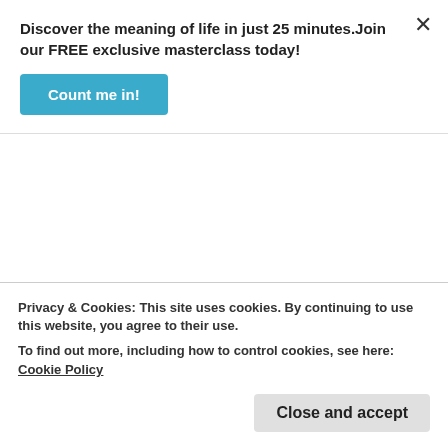Discover the meaning of life in just 25 minutes. Join our FREE exclusive masterclass today!
Count me in!
Seventh day Adventist and J (false) Witness. The Lake of Fire is Eternal as the Bible clearly teaches, Jesus did rise on Sunday (the first day of the week) Mary came very early and found the tomb empty and saw Jesus before He ascended, though He died on
Privacy & Cookies: This site uses cookies. By continuing to use this website, you agree to their use. To find out more, including how to control cookies, see here: Cookie Policy
Close and accept
(Jesus) Jn 1:1-3 and the Spirit moved